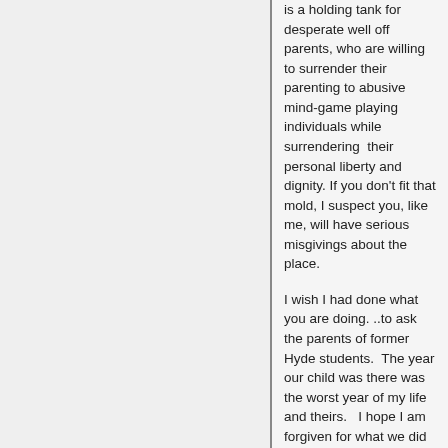is a holding tank for desperate well off parents, who are willing to surrender their parenting to abusive mind-game playing individuals while surrendering their personal liberty and dignity. If you don't fit that mold, I suspect you, like me, will have serious misgivings about the place.
I wish I had done what you are doing. ..to ask the parents of former Hyde students.  The year our child was there was the worst year of my life and theirs.   I hope I am forgiven for what we did by putting our child there, despite our good intentions.
I could go on for hours detailing what I